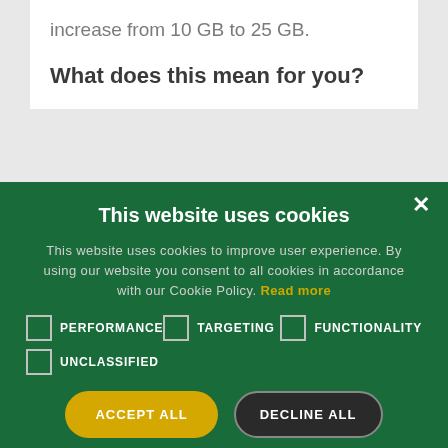increase from 10 GB to 25 GB.
What does this mean for you?
This website uses cookies
This website uses cookies to improve user experience. By using our website you consent to all cookies in accordance with our Cookie Policy. Read more
PERFORMANCE
TARGETING
FUNCTIONALITY
UNCLASSIFIED
ACCEPT ALL
DECLINE ALL
SHOW DETAILS
POWERED BY COOKIE-SCRIPT